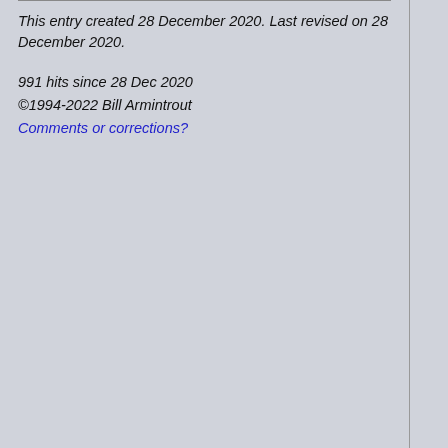This entry created 28 December 2020. Last revised on 28 December 2020.
991 hits since 28 Dec 2020
©1994-2022 Bill Armintrout
Comments or corrections?
too clo... fundam... which ...
The go... no long... resear...
If you'r... really e... fair jobi... sloppy ... author ...
Can yo... their so... military ... psychi...
An inte... the mil...
Review...